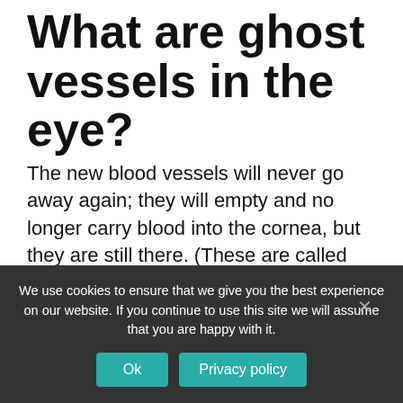What are ghost vessels in the eye?
The new blood vessels will never go away again; they will empty and no longer carry blood into the cornea, but they are still there. (These are called “ghost vessels,” because without blood in them, they look a little ghostly, being clear and hard to see.)
What do cotton wool spots indicate?
We use cookies to ensure that we give you the best experience on our website. If you continue to use this site we will assume that you are happy with it.